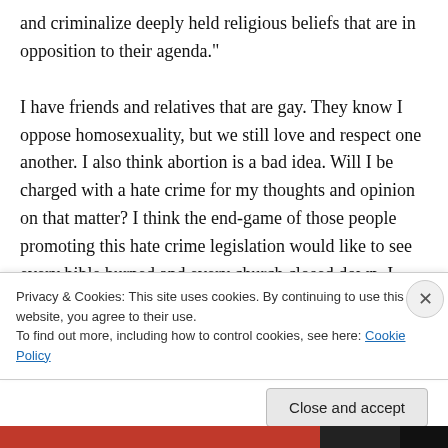and criminalize deeply held religious beliefs that are in opposition to their agenda."

I have friends and relatives that are gay. They know I oppose homosexuality, but we still love and respect one another. I also think abortion is a bad idea. Will I be charged with a hate crime for my thoughts and opinion on that matter? I think the end-game of those people promoting this hate crime legislation would like to see every bible burned and every church closed down. I
Privacy & Cookies: This site uses cookies. By continuing to use this website, you agree to their use.
To find out more, including how to control cookies, see here: Cookie Policy
Close and accept